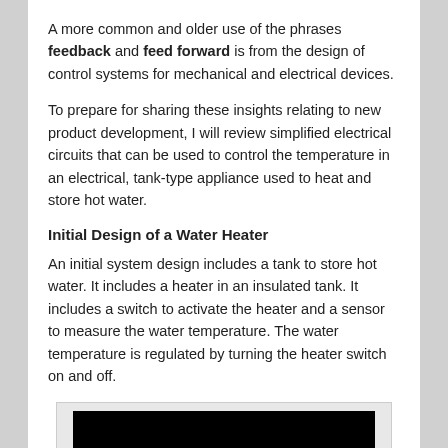A more common and older use of the phrases feedback and feed forward is from the design of control systems for mechanical and electrical devices.
To prepare for sharing these insights relating to new product development, I will review simplified electrical circuits that can be used to control the temperature in an electrical, tank-type appliance used to heat and store hot water.
Initial Design of a Water Heater
An initial system design includes a tank to store hot water. It includes a heater in an insulated tank. It includes a switch to activate the heater and a sensor to measure the water temperature. The water temperature is regulated by turning the heater switch on and off.
[Figure (illustration): A black background illustration showing a water heater diagram with a 'water temperature sensor' label and a circular sensor indicator in the lower right area.]